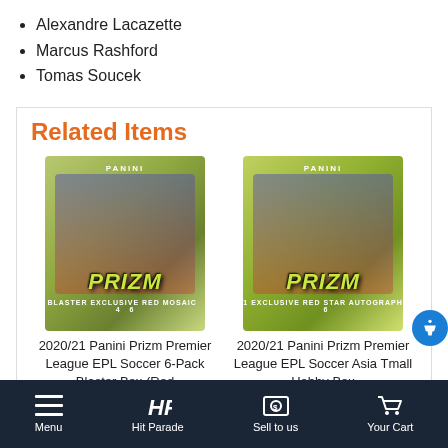Alexandre Lacazette
Marcus Rashford
Tomas Soucek
Related Items
[Figure (photo): 2020/21 Panini Prizm Premier League EPL Soccer 6-Pack Blaster Box (Red Mosaic) product image]
2020/21 Panini Prizm Premier League EPL Soccer 6-Pack Blaster Box (Red
[Figure (photo): 2020/21 Panini Prizm Premier League EPL Soccer Asia Tmall Hobby Box product image]
2020/21 Panini Prizm Premier League EPL Soccer Asia Tmall Hobby Box
Menu   Hit Parade   Sell to us   Your Cart